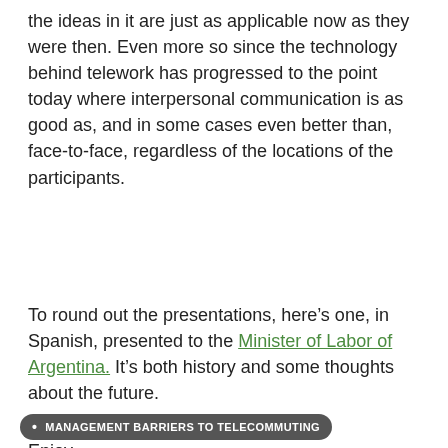the ideas in it are just as applicable now as they were then. Even more so since the technology behind telework has progressed to the point today where interpersonal communication is as good as, and in some cases even better than, face-to-face, regardless of the locations of the participants.
To round out the presentations, here's one, in Spanish, presented to the Minister of Labor of Argentina. It's both history and some thoughts about the future.
Enjoy.
MANAGEMENT BARRIERS TO TELECOMMUTING